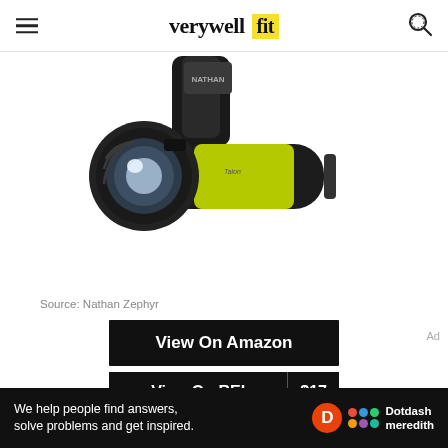verywell fit
[Figure (photo): Nathan Zephyr hand-held running flashlight with black strap and yellow-green body]
Source: Nathan Zephyr
View On Amazon
View On REI  $17
We help people find answers, solve problems and get inspired.  Dotdash meredith